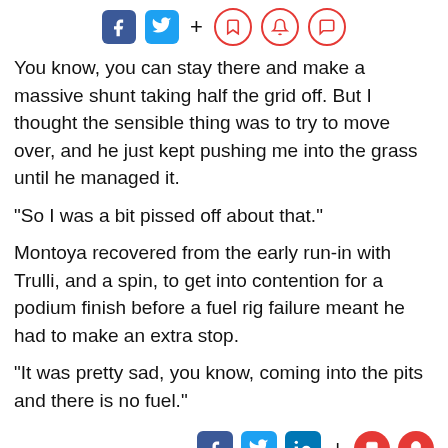[Social sharing icons: Facebook, Twitter, +, Bookmark, Bell, Comment]
You know, you can stay there and make a massive shunt taking half the grid off. But I thought the sensible thing was to try to move over, and he just kept pushing me into the grass until he managed it.
"So I was a bit pissed off about that."
Montoya recovered from the early run-in with Trulli, and a spin, to get into contention for a podium finish before a fuel rig failure meant he had to make an extra stop.
"It was pretty sad, you know, coming into the pits and there is no fuel."
[Social sharing icons: Facebook, Twitter, LinkedIn, +, Bookmark, Bell] | Sponsored Content | Recommended by Outbrain